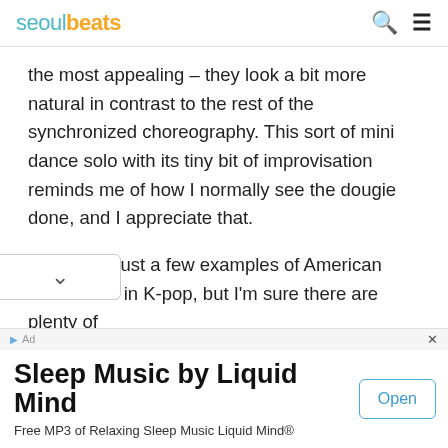seoulbeats
the most appealing – they look a bit more natural in contrast to the rest of the synchronized choreography. This sort of mini dance solo with its tiny bit of improvisation reminds me of how I normally see the dougie done, and I appreciate that.
These are just a few examples of American dance fads in K-pop, but I'm sure there are plenty of s so feel free to share your favorites! And on
[Figure (screenshot): Advertisement banner: Sleep Music by Liquid Mind - Free MP3 of Relaxing Sleep Music Liquid Mind® with Open button]